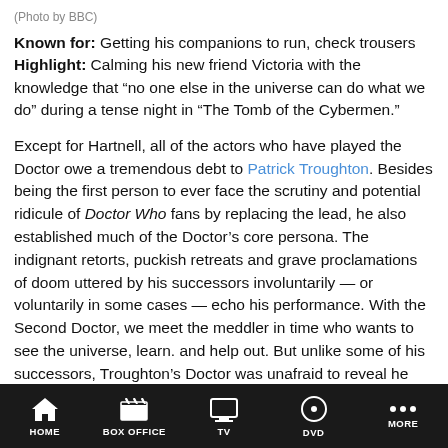(Photo by BBC)
Known for: Getting his companions to run, check trousers
Highlight: Calming his new friend Victoria with the knowledge that “no one else in the universe can do what we do” during a tense night in “The Tomb of the Cybermen.”
Except for Hartnell, all of the actors who have played the Doctor owe a tremendous debt to Patrick Troughton. Besides being the first person to ever face the scrutiny and potential ridicule of Doctor Who fans by replacing the lead, he also established much of the Doctor’s core persona. The indignant retorts, puckish retreats and grave proclamations of doom uttered by his successors involuntarily — or voluntarily in some cases — echo his performance. With the Second Doctor, we meet the meddler in time who wants to see the universe, learn. and help out. But unlike some of his successors, Troughton’s Doctor was unafraid to reveal he was out of his depth. Some of the best moments in a Troughton story come from his confidence being shattered when
HOME   BOX OFFICE   TV   DVD   MORE